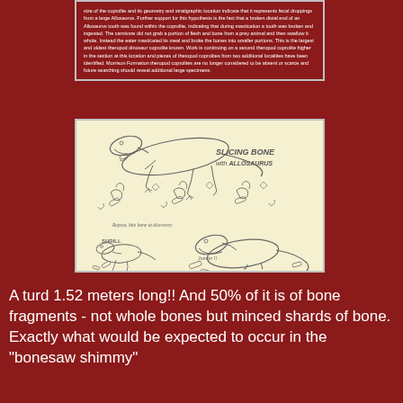size of the coprolite and its geometry and stratigraphic location indicate that it represents fecal droppings from a large Allosaurus. Further support for this hypothesis is the fact that a broken distal end of an Allosaurus tooth was found within the coprolite, indicating that during mastication a tooth was broken and ingested. The carnivore did not grab a portion of flesh and bone from a prey animal and then swallow it whole. Instead the eater masticated its meal and broke the bones into smaller portions. This is the largest and oldest theropod dinosaur coprolite known. Work is continuing on a second theropod coprolite higher in the section at this location and pieces of theropod coprolites from two additional localities have been identified. Morrison Formation theropod coprolites are no longer considered to be absent or scarce and future searching should reveal additional large specimens.
[Figure (illustration): Pencil sketch illustration showing Allosaurus dinosaur slicing bone, with text 'SLICING BONE with ALLOSAURUS'. Multiple sketches show the dinosaur and bone fragments in various positions. Labels include 'Repeat, bite bone at discovery', 'SHRILL', and 'Jumbo!!']
A turd 1.52 meters long!! And 50% of it is of bone fragments - not whole bones but minced shards of bone. Exactly what would be expected to occur in the "bonesaw shimmy"